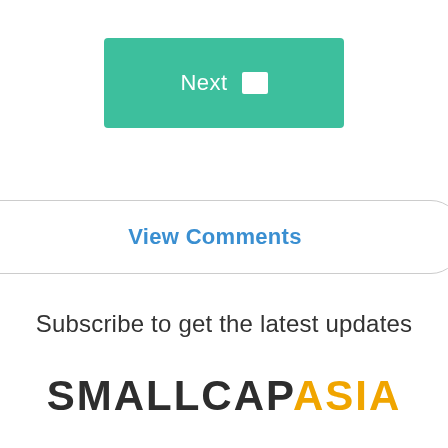[Figure (other): A teal/green button labeled 'Next' with a white square icon on the right side]
View Comments
Subscribe to get the latest updates
[Figure (logo): SmallCapAsia logo — 'SMALLCAP' in dark/black bold uppercase letters and 'ASIA' in gold/yellow bold uppercase letters]